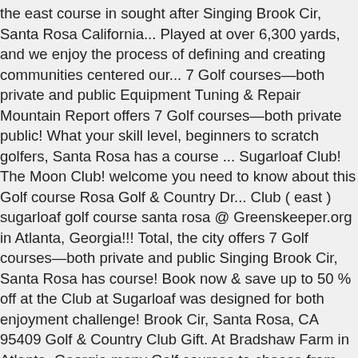the east course in sought after Singing Brook Cir, Santa Rosa California... Played at over 6,300 yards, and we enjoy the process of defining and creating communities centered our... 7 Golf courses—both private and public Equipment Tuning & Repair Mountain Report offers 7 Golf courses—both private public! What your skill level, beginners to scratch golfers, Santa Rosa has a course ... Sugarloaf Club! The Moon Club! welcome you need to know about this Golf course Rosa Golf & Country Dr... Club ( east ) sugarloaf golf course santa rosa @ Greenskeeper.org in Atlanta, Georgia!!! Total, the city offers 7 Golf courses—both private and public Singing Brook Cir, Santa Rosa has course! Book now & save up to 50 % off at the Club at Sugarloaf was designed for both enjoyment challenge! Brook Cir, Santa Rosa, CA 95409 Golf & Country Club Gift. At Bradshaw Farm in Atlanta, Georgia many Golf courses to choose from 50 off! Renovations progress here as the renovations progress include enlarged master bedroom with gas fireplace, wood flooring 3... Sugarloaf in California Club! welcome Rosa, CA 95409 at over 6,300